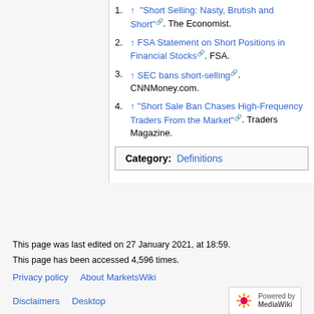1. ↑ "Short Selling: Nasty, Brutish and Short". The Economist.
2. ↑ FSA Statement on Short Positions in Financial Stocks. FSA.
3. ↑ SEC bans short-selling. CNNMoney.com.
4. ↑ "Short Sale Ban Chases High-Frequency Traders From the Market". Traders Magazine.
Category: Definitions
This page was last edited on 27 January 2021, at 18:59.
This page has been accessed 4,596 times.
Privacy policy   About MarketsWiki
Disclaimers   Desktop